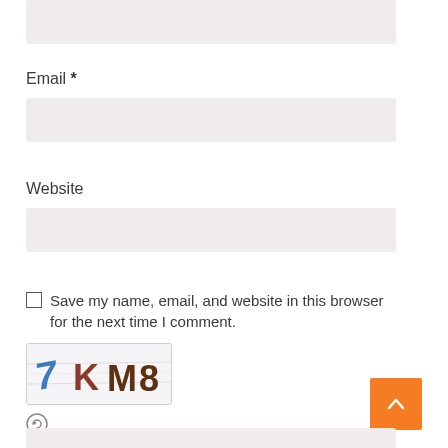[Figure (other): Empty input field at top of page (name field, partially visible)]
Email *
[Figure (other): Empty email input field]
Website
[Figure (other): Empty website input field]
Save my name, email, and website in this browser for the next time I comment.
[Figure (other): CAPTCHA image showing handwritten characters: 7 K M8]
[Figure (other): Refresh/reload icon for CAPTCHA]
[Figure (other): Orange scroll-to-top button with upward chevron arrow]
[Figure (other): Partially visible input field at bottom of page]